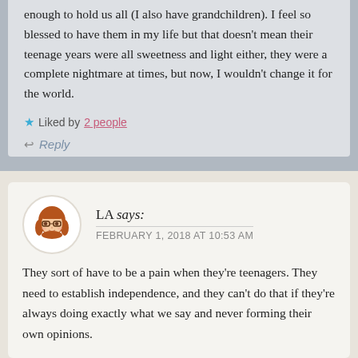enough to hold us all (I also have grandchildren). I feel so blessed to have them in my life but that doesn't mean their teenage years were all sweetness and light either, they were a complete nightmare at times, but now, I wouldn't change it for the world.
★ Liked by 2 people
↩ Reply
LA says: FEBRUARY 1, 2018 AT 10:53 AM
They sort of have to be a pain when they're teenagers. They need to establish independence, and they can't do that if they're always doing exactly what we say and never forming their own opinions.